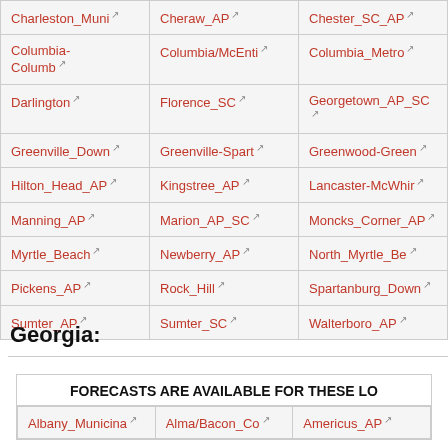| Charleston_Muni | Cheraw_AP | Chester_SC_AP |
| Columbia-Columb | Columbia/McEnti | Columbia_Metro |
| Darlington | Florence_SC | Georgetown_AP_SC |
| Greenville_Down | Greenville-Spart | Greenwood-Green |
| Hilton_Head_AP | Kingstree_AP | Lancaster-McWhir |
| Manning_AP | Marion_AP_SC | Moncks_Corner_AP |
| Myrtle_Beach | Newberry_AP | North_Myrtle_Be |
| Pickens_AP | Rock_Hill | Spartanburg_Down |
| Sumter_AP | Sumter_SC | Walterboro_AP |
Georgia:
| FORECASTS ARE AVAILABLE FOR THESE LO |
| --- |
| Albany_Municina | Alma/Bacon_Co | Americus_AP |